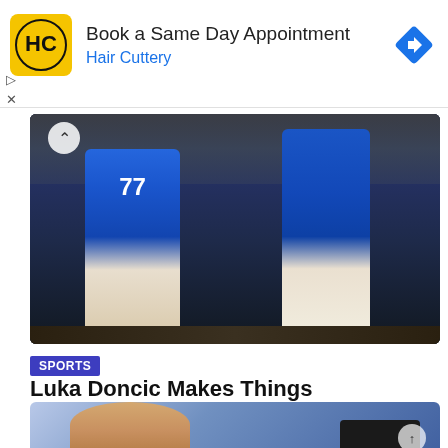[Figure (other): Hair Cuttery advertisement banner with logo, 'Book a Same Day Appointment' headline, and navigation arrow icon]
[Figure (photo): Dallas Mavericks basketball players in blue uniforms (including #77) jumping on court with crowd in background]
SPORTS
Luka Doncic Makes Things Extremely Easy & Is A Leader, Says Kristaps Porzingis & Jalen Brunson
[Figure (photo): Partial photo of Luka Doncic at the bottom of the page]